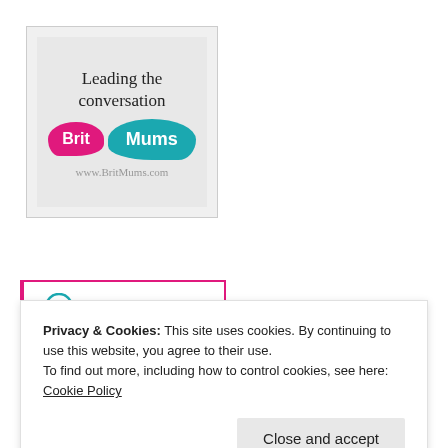[Figure (logo): BritMums logo: 'Leading the conversation' in script text above two speech bubbles — pink bubble saying 'Brit' and teal bubble saying 'Mums' — with 'www.BritMums.com' below, inside a bordered square frame on a light grey background.]
[Figure (logo): Partially visible Influencer logo bar with teal circular icon and teal text 'INFLUENCER' in capital letters, with a pink/red left border.]
Privacy & Cookies: This site uses cookies. By continuing to use this website, you agree to their use.
To find out more, including how to control cookies, see here: Cookie Policy
Close and accept